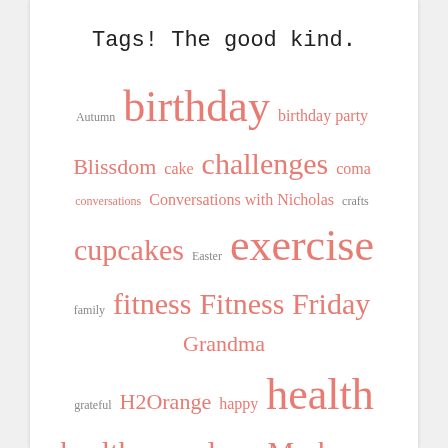Tags! The good kind.
[Figure (infographic): A tag cloud / word cloud showing blog post tags in varying font sizes and salmon/coral color. Tags include: Autumn, birthday, birthday party, Blissdom, cake, challenges, coma, conversations, Conversations with Nicholas, crafts, cupcakes, Easter, exercise, family, fitness, Fitness Friday, Grandma, grateful, H2Orange, happy, health, healthy, Lemmon, love, Mark, New Year, Resolutions, Nicholas, NSV, pinterest, pregnancy, scrapbooking, Sharpie, sons, success, Texas, thankful, Tobin, VSG]